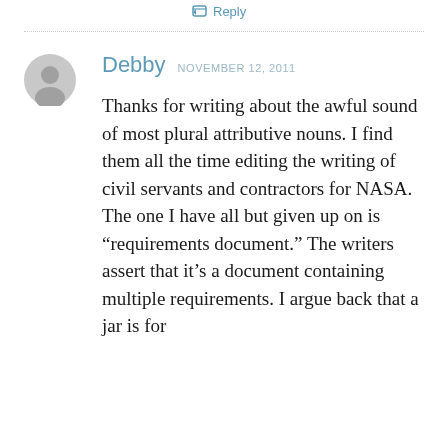Reply
Debby   NOVEMBER 12, 2011
Thanks for writing about the awful sound of most plural attributive nouns. I find them all the time editing the writing of civil servants and contractors for NASA. The one I have all but given up on is “requirements document.” The writers assert that it’s a document containing multiple requirements. I argue back that a jar is for